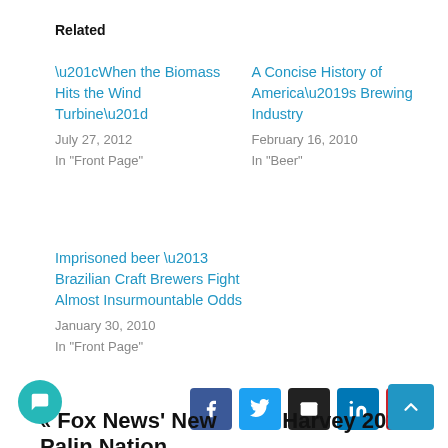Related
“When the Biomass Hits the Wind Turbine”
July 27, 2012
In "Front Page"
A Concise History of America’s Brewing Industry
February 16, 2010
In "Beer"
Imprisoned beer – Brazilian Craft Brewers Fight Almost Insurmountable Odds
January 30, 2010
In "Front Page"
[Figure (other): Social share buttons: Facebook, Twitter, Email, LinkedIn, Pinterest]
« Fox News’ New Palin Nation   Harvey 2016 »